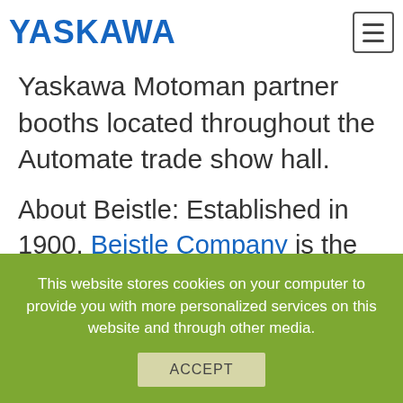YASKAWA
Yaskawa Motoman partner booths located throughout the Automate trade show hall.
About Beistle: Established in 1900, Beistle Company is the oldest and largest manufacturer of decorations and party goods in the United States. With the highest quality products in the industry, Beistle’s 10,000+ item product line is designed with unsurpassed skill, craftsmanship and produced from the
This website stores cookies on your computer to provide you with more personalized services on this website and through other media.
ACCEPT